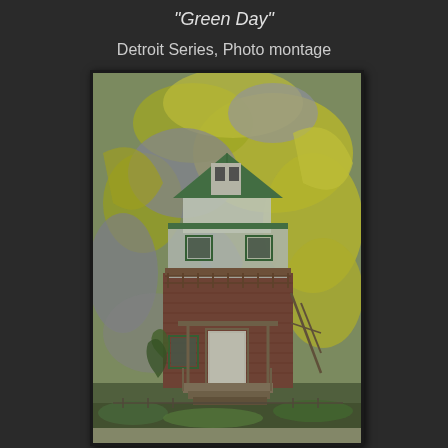"Green Day"
Detroit Series, Photo montage
[Figure (photo): Photo montage of an abandoned dilapidated two-story brick house with a green roof and a balcony, set against a background of peeling paint in yellow, green, and grey tones. The house has deteriorating stairs, overgrown vegetation, and shows significant urban decay. Part of the Detroit Series.]